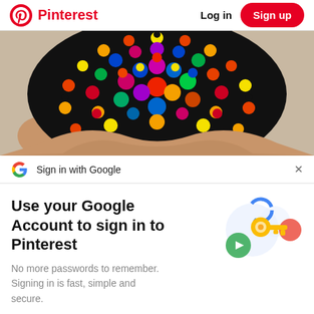Pinterest  Log in  Sign up
[Figure (photo): A hand holding a colorful dot-painted stone/rock with rainbow mandala pattern against a light background]
G  Sign in with Google  ×
Use your Google Account to sign in to Pinterest
No more passwords to remember. Signing in is fast, simple and secure.
[Figure (illustration): Google security illustration with a golden key and colorful circles/shields]
Continue